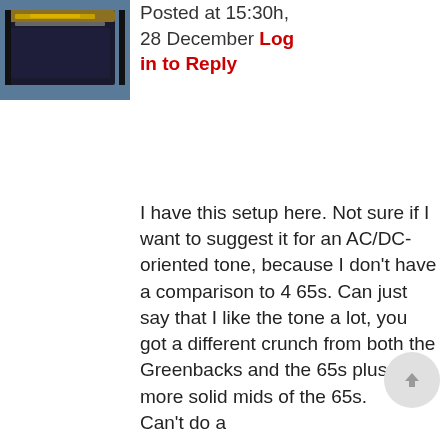[Figure (photo): Thumbnail image of a guitar amplifier, dark blue/black cabinet with gold/yellow trim visible at top]
Posted at 15:30h, 28 December Log in to Reply
I have this setup here. Not sure if I want to suggest it for an AC/DC-oriented tone, because I don't have a comparison to 4 65s. Can just say that I like the tone a lot, you got a different crunch from both the Greenbacks and the 65s plus the more solid mids of the 65s.
Can't do a